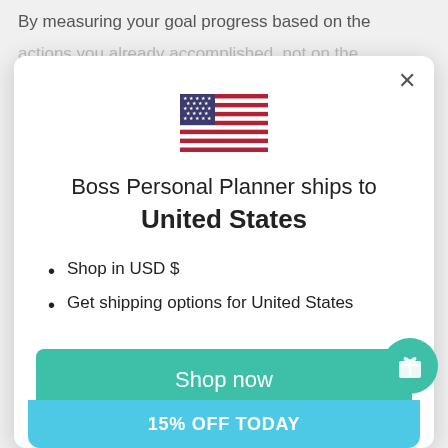By measuring your goal progress based on the
actions you already accomplished, not on the
[Figure (illustration): US flag SVG illustration]
Boss Personal Planner ships to United States
Shop in USD $
Get shipping options for United States
Shop now
Change shipping country
15% OFF TODAY